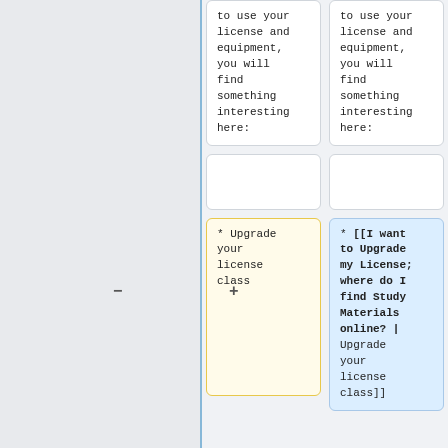to use your license and equipment, you will find something interesting here:
to use your license and equipment, you will find something interesting here:
* Upgrade your license class
* [[I want to Upgrade my License; where do I find Study Materials online? | Upgrade your license class]]